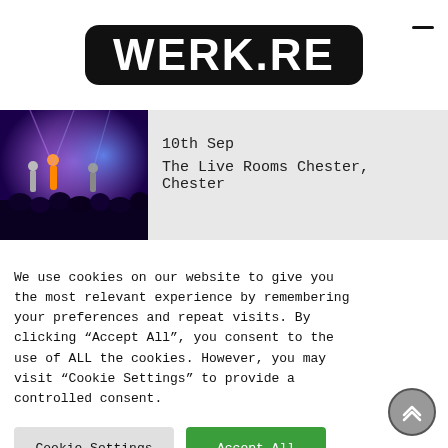WERK.RE
10th Sep
The Live Rooms Chester, Chester
[Figure (photo): Concert photo showing band on stage with purple/blue lighting and crowd in foreground]
We use cookies on our website to give you the most relevant experience by remembering your preferences and repeat visits. By clicking “Accept All”, you consent to the use of ALL the cookies. However, you may visit “Cookie Settings” to provide a controlled consent.
Cookie Settings
Accept All